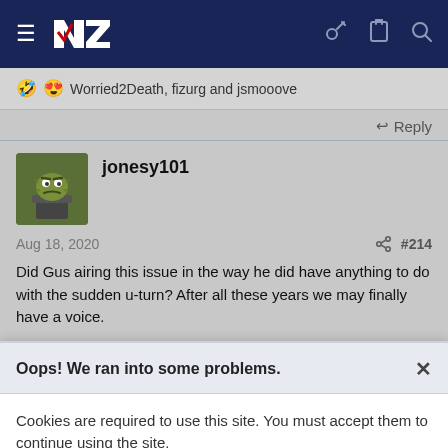[Figure (screenshot): Dark blue navigation bar with hamburger menu, NZ logo, and icons for key, clipboard, and search]
🤣😍 Worried2Death, fizurg and jsmooove
↩ Reply
jonesy101
Aug 18, 2020  #214
Did Gus airing this issue in the way he did have anything to do with the sudden u-turn? After all these years we may finally have a voice.
Oops! We ran into some problems.
Cookies are required to use this site. You must accept them to continue using the site.